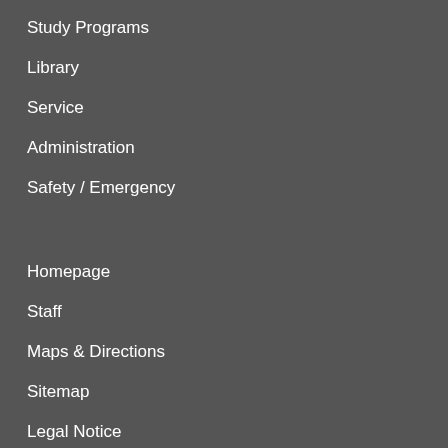Study Programs
Library
Service
Administration
Safety / Emergency
Homepage
Staff
Maps & Directions
Sitemap
Legal Notice
Privacy Policy